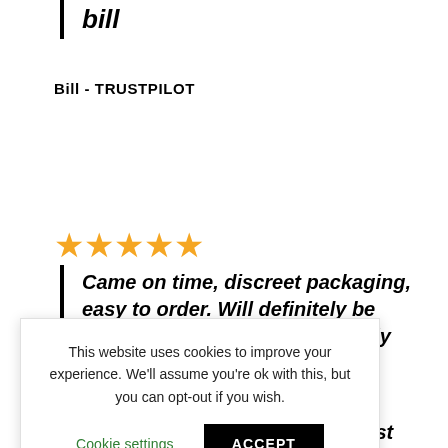bill
Bill - TRUSTPILOT
[Figure (other): Five orange star rating icons]
Came on time, discreet packaging, easy to order. Will definitely be ordering from here again. Highly recommend 👌
This website uses cookies to improve your experience. We'll assume you're ok with this, but you can opt-out if you wish.
Cookie settings
ACCEPT
Excellent excellent excellent fast shipping